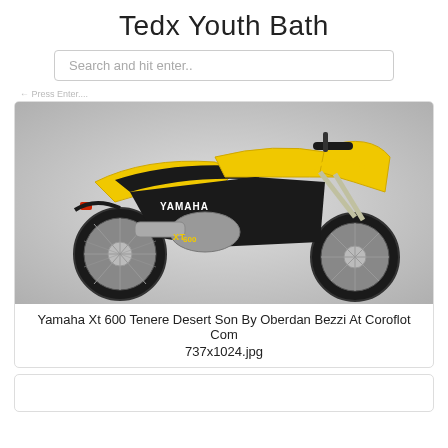Tedx Youth Bath
Search and hit enter..
← Press Enter...
[Figure (photo): Yellow and black Yamaha XT 600 Tenere off-road motorcycle on a grey gradient background]
Yamaha Xt 600 Tenere Desert Son By Oberdan Bezzi At Coroflot Com
737x1024.jpg